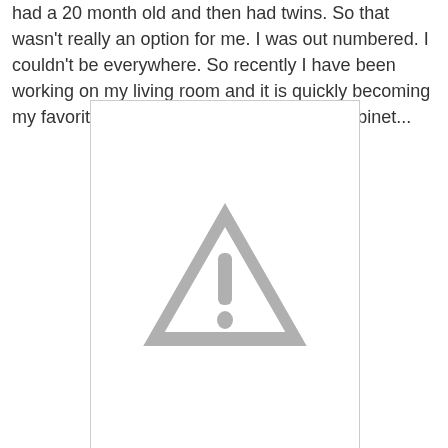had a 20 month old and then had twins. So that wasn't really an option for me. I was out numbered. I couldn't be everywhere. So recently I have been working on my living room and it is quickly becoming my favorite space. I recently painted this cabinet...
[Figure (photo): Placeholder image with a gray warning/caution triangle icon (exclamation mark inside triangle) on a white background, indicating an unavailable or broken image.]